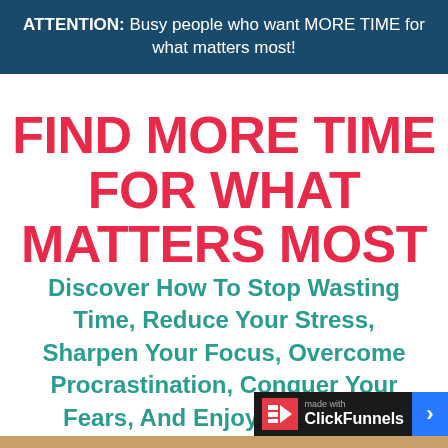ATTENTION: Busy people who want MORE TIME for what matters most!
FIND MORE TIME FOR WHAT MATTERS MOST
Discover How To Stop Wasting Time, Reduce Your Stress, Sharpen Your Focus, Overcome Procrastination, Conquer Your Fears, And Enjoy God More!